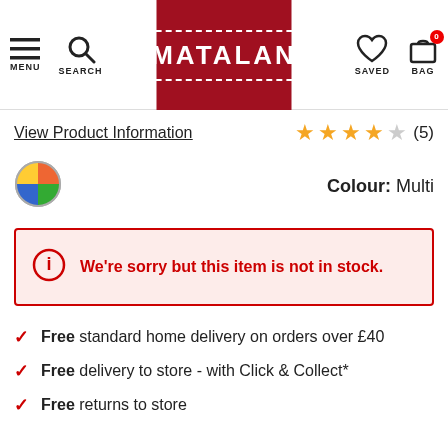[Figure (screenshot): Matalan website header with menu, search, logo, saved and bag icons]
View Product Information
★★★★☆ (5)
[Figure (other): Multi-colour swatch circle]
Colour: Multi
We're sorry but this item is not in stock.
Free standard home delivery on orders over £40
Free delivery to store - with Click & Collect*
Free returns to store